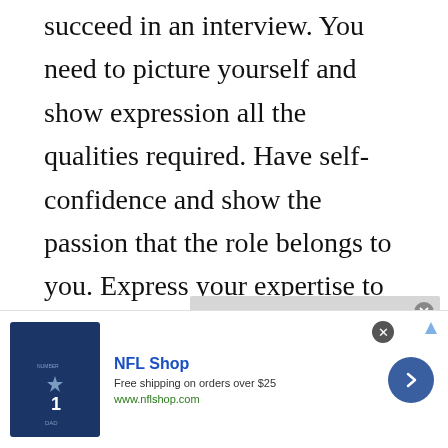succeed in an interview. You need to picture yourself and show expression all the qualities required. Have self-confidence and show the passion that the role belongs to you. Express your expertise to the interviewer using your experience and engagement. Ensure you leave a good impression on how you communicate and give out your answers.
[Figure (screenshot): Video player showing error message: 'No compatible source was found for this media.' with watermark text 'SHOULD WE' partially visible. Close button in top right corner.]
[Figure (infographic): NFL Shop advertisement banner. Shows Dallas Cowboys jersey image on left, 'NFL Shop' title in blue, 'Free shipping on orders over $25', 'www.nflshop.com', blue circular arrow button on right. Close X button top right.]